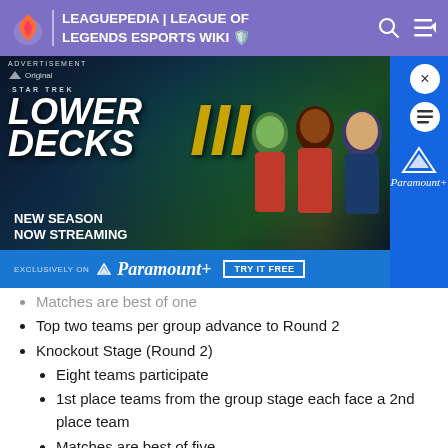LEAGUEPEDIA | LEAGUE OF LEGENDS ESPORTS WIKI
[Figure (screenshot): Advertisement for Star Trek Lower Decks III on Paramount+. Shows animated characters and logo with 'NEW SEASON NOW STREAMING' text. Bottom bar says 'EXCLUSIVELY ON Paramount+ TRY IT FREE'.]
Matches are best of one (partially visible/struck)
Top two teams per group advance to Round 2
Knockout Stage (Round 2)
Eight teams participate
1st place teams from the group stage each face a 2nd place team
Matches are best of five
Winners advance to the Main Event
Main Event